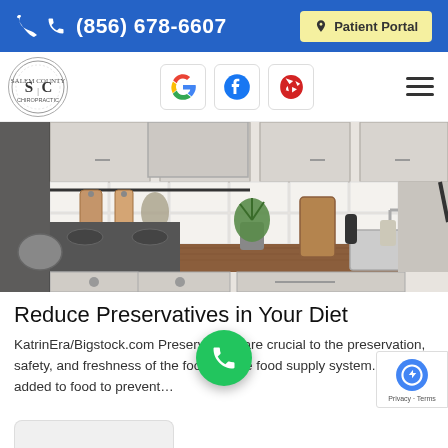(856) 678-6607  Patient Portal
[Figure (logo): SC circular logo with decorative border]
[Figure (logo): Google G icon in red]
[Figure (logo): Facebook f icon in blue]
[Figure (logo): Yelp logo in red]
[Figure (photo): Kitchen counter with white cabinets, white tile backsplash, wooden cutting boards hanging, potted plant, wooden countertop with sink and kitchen items]
Reduce Preservatives in Your Diet
KatrinEra/Bigstock.com Preservatives are crucial to the preservation, safety, and freshness of the foods in the food supply system. They are added to food to prevent...